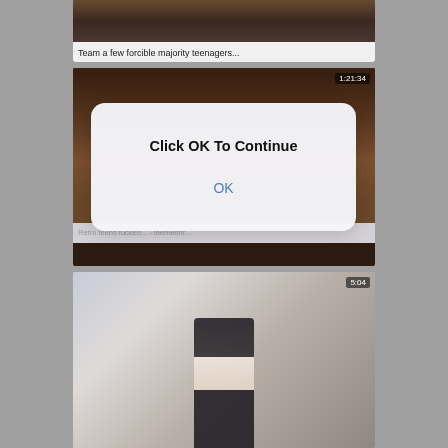[Figure (screenshot): Video thumbnail card showing a dark scene with people, with label 'Team a few forcible majority teenagers...']
Team a few forcible majority teenagers...
[Figure (screenshot): Video thumbnail card showing two people, duration 1:21:34, with dialog overlay 'Click OK To Continue' and OK button, and label 'Retro teens fucked... - teenienhr...']
Click OK To Continue
OK
Retro teens fucked... - teenienhr...
[Figure (screenshot): Video thumbnail card showing a woman standing in a room, duration 5:04]